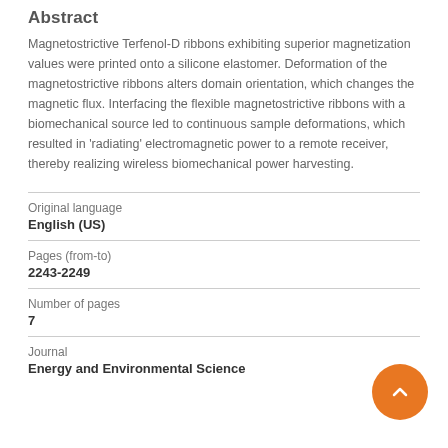Abstract
Magnetostrictive Terfenol-D ribbons exhibiting superior magnetization values were printed onto a silicone elastomer. Deformation of the magnetostrictive ribbons alters domain orientation, which changes the magnetic flux. Interfacing the flexible magnetostrictive ribbons with a biomechanical source led to continuous sample deformations, which resulted in 'radiating' electromagnetic power to a remote receiver, thereby realizing wireless biomechanical power harvesting.
| Original language | English (US) |
| Pages (from-to) | 2243-2249 |
| Number of pages | 7 |
| Journal | Energy and Environmental Science |